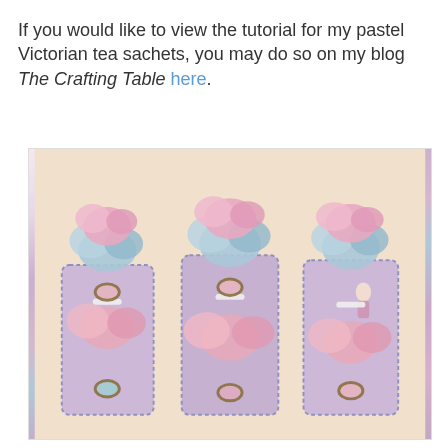If you would like to view the tutorial for my pastel Victorian tea sachets, you may do so on my blog The Crafting Table here.
[Figure (photo): Three pastel Victorian tea sachets decorated with pink and blue fabric flowers, lace, ribbons, and antique-style cameo brooches arranged in a row.]